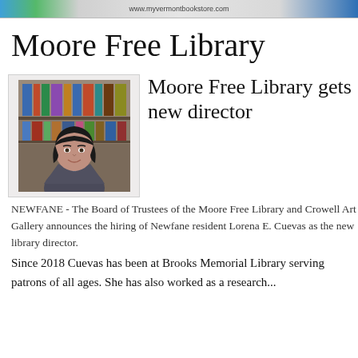www.myvermontbookstore.com
Moore Free Library
[Figure (photo): Headshot of a young woman with dark hair and bangs, smiling, in front of bookshelves. She is wearing a blue/grey jacket.]
Moore Free Library gets new director
NEWFANE - The Board of Trustees of the Moore Free Library and Crowell Art Gallery announces the hiring of Newfane resident Lorena E. Cuevas as the new library director.
Since 2018 Cuevas has been at Brooks Memorial Library serving patrons of all ages. She has also worked as a research...